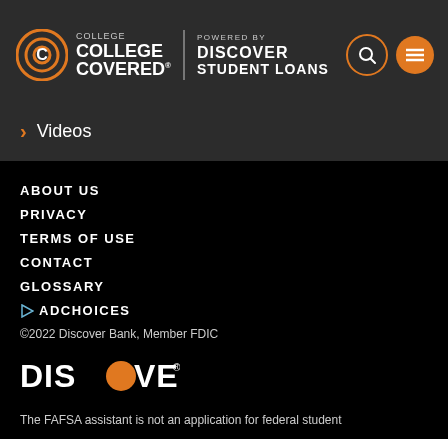College Covered powered by Discover Student Loans
> Videos
ABOUT US
PRIVACY
TERMS OF USE
CONTACT
GLOSSARY
ADCHOICES
©2022 Discover Bank, Member FDIC
[Figure (logo): Discover logo with orange circle replacing the O]
The FAFSA assistant is not an application for federal student